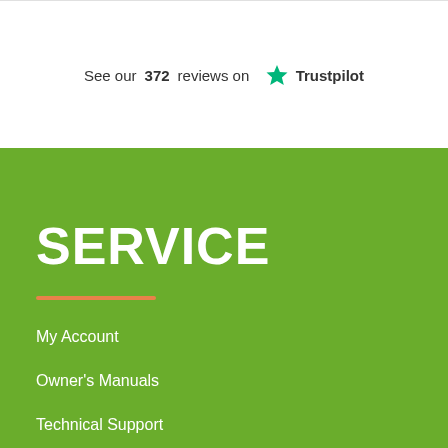See our 372 reviews on Trustpilot
SERVICE
My Account
Owner's Manuals
Technical Support
Track Order